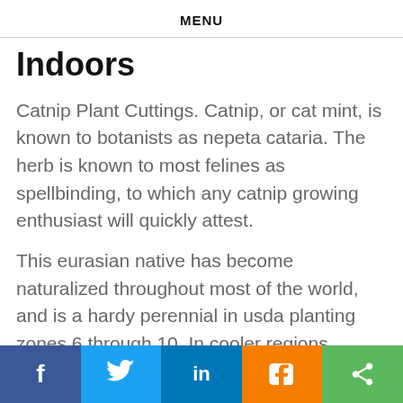MENU
Indoors
Catnip Plant Cuttings. Catnip, or cat mint, is known to botanists as nepeta cataria. The herb is known to most felines as spellbinding, to which any catnip growing enthusiast will quickly attest.
This eurasian native has become naturalized throughout most of the world, and is a hardy perennial in usda planting zones 6 through 10. In cooler regions, nepeta can be brought indoors to over-winter. Use clean, sharp scissors to cut your